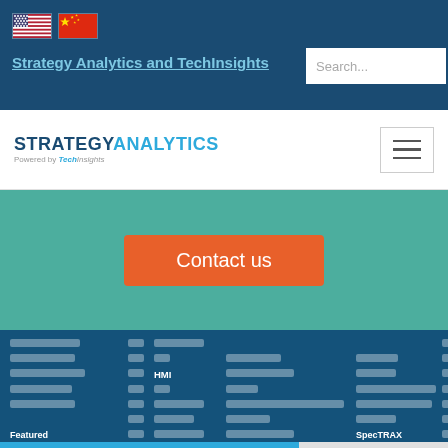[Figure (other): US and China flag icons in top navigation bar]
Strategy Analytics and TechInsights
Search...
[Figure (logo): Strategy Analytics powered by TechInsights logo with hamburger menu icon]
Contact us
Featured
HMI
SpecTRAX